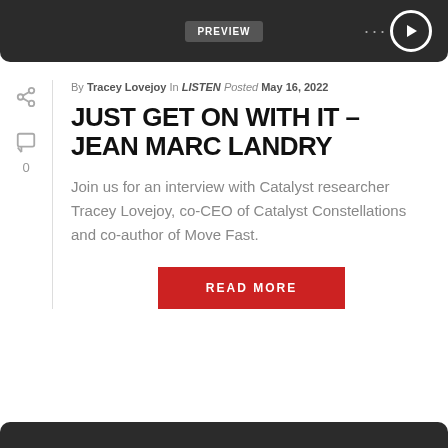[Figure (screenshot): Dark top navigation bar with PREVIEW button, dots menu, and play button]
By Tracey Lovejoy In LISTEN Posted May 16, 2022
JUST GET ON WITH IT – JEAN MARC LANDRY
Join us for an interview with Catalyst researcher Tracey Lovejoy, co-CEO of Catalyst Constellations and co-author of Move Fast.
READ MORE
[Figure (other): Dark bottom bar]